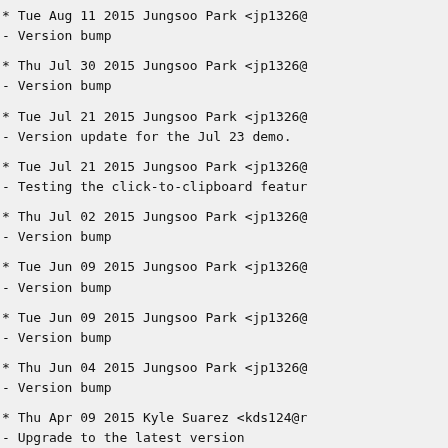* Tue Aug 11 2015 Jungsoo Park <jp1326@
- Version bump
* Thu Jul 30 2015 Jungsoo Park <jp1326@
- Version bump
* Tue Jul 21 2015 Jungsoo Park <jp1326@
- Version update for the Jul 23 demo.
* Tue Jul 21 2015 Jungsoo Park <jp1326@
- Testing the click-to-clipboard featur
* Thu Jul 02 2015 Jungsoo Park <jp1326@
- Version bump
* Tue Jun 09 2015 Jungsoo Park <jp1326@
- Version bump
* Tue Jun 09 2015 Jungsoo Park <jp1326@
- Version bump
* Thu Jun 04 2015 Jungsoo Park <jp1326@
- Version bump
* Thu Apr 09 2015 Kyle Suarez <kds124@r
- Upgrade to the latest version
- Add missing python3 package dependenc
* Wed Apr 01 2015 Kaitlin Poskaitis <ka
- Initial build for Centos 6 at Rutger